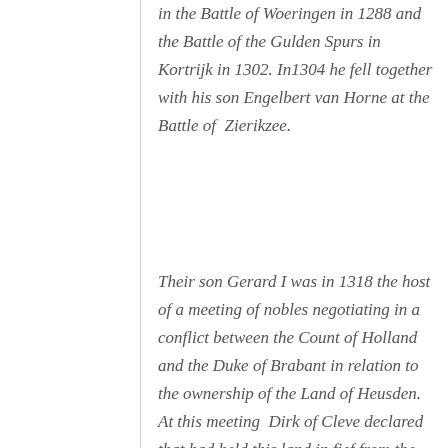in the Battle of Woeringen in 1288 and the Battle of the Gulden Spurs in Kortrijk in 1302. In1304 he fell together with his son Engelbert van Horne at the Battle of Zierikzee.
Their son Gerard I was in 1318 the host of a meeting of nobles negotiating in a conflict between the Count of Holland and the Duke of Brabant in relation to the ownership of the Land of Heusden. At this meeting Dirk of Cleve declared that had held this land in fief from the Duke of Brabant.
His son Willem V van Horne (1305-1343) was an important diplomat and played a key role in the commission of inquiry – together with the Duke of Brabant and Count of Flan...